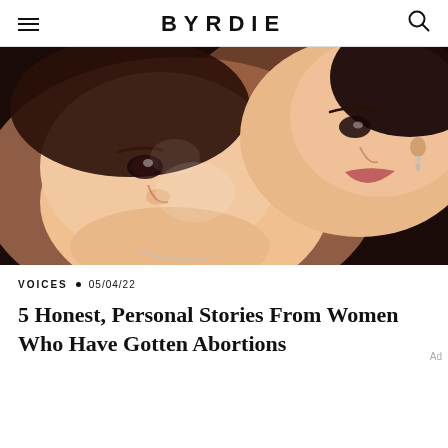BYRDIE
[Figure (photo): Close-up photo of two women's faces resting together, with warm skin tones and soft lighting]
VOICES • 05/04/22
5 Honest, Personal Stories From Women Who Have Gotten Abortions